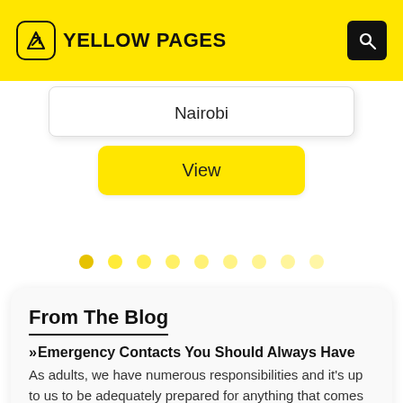YELLOW PAGES
Nairobi
View
[Figure (other): Pagination dots row with 9 dots, first dot darkest yellow, remaining dots progressively lighter yellow]
From The Blog
Emergency Contacts You Should Always Have
As adults, we have numerous responsibilities and it's up to us to be adequately prepared for anything that comes our way. However, life is unpredictable and an emergency can arise at any moment.